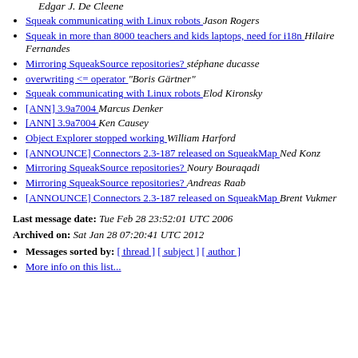Edgar J. De Cleene
Squeak communicating with Linux robots  Jason Rogers
Squeak in more than 8000 teachers and kids laptops, need for i18n  Hilaire Fernandes
Mirroring SqueakSource repositories?  stéphane ducasse
overwriting <= operator  "Boris Gärtner"
Squeak communicating with Linux robots  Elod Kironsky
[ANN] 3.9a7004  Marcus Denker
[ANN] 3.9a7004  Ken Causey
Object Explorer stopped working  William Harford
[ANNOUNCE] Connectors 2.3-187 released on SqueakMap  Ned Konz
Mirroring SqueakSource repositories?  Noury Bouraqadi
Mirroring SqueakSource repositories?  Andreas Raab
[ANNOUNCE] Connectors 2.3-187 released on SqueakMap  Brent Vukmer
Last message date: Tue Feb 28 23:52:01 UTC 2006
Archived on: Sat Jan 28 07:20:41 UTC 2012
Messages sorted by: [ thread ] [ subject ] [ author ]
More info on this list...